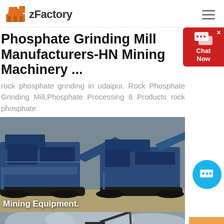zFactory
Phosphate Grinding Mill Manufacturers-HN Mining Machinery ...
rock phosphate grinding in udaipur. Rock Phosphate Grinding Mill,Phosphate Processing 6 Products rock phosphate
[Figure (photo): Large blue mining crushing/screening equipment on tracks parked on dirt ground]
Mining Equipment.
[Figure (photo): Mining equipment with cloudy sky background, partial view at bottom of page]